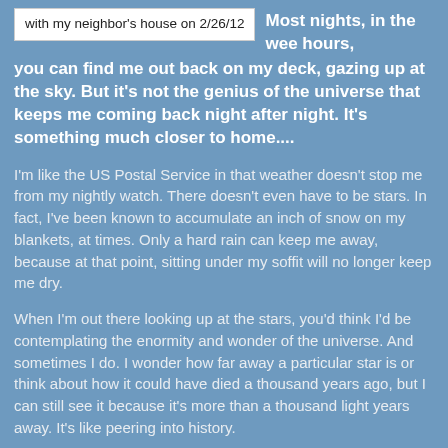[Figure (screenshot): White box with text referencing neighbor's house on 2/26/12]
Most nights, in the wee hours, you can find me out back on my deck, gazing up at the sky. But it's not the genius of the universe that keeps me coming back night after night. It's something much closer to home....
I'm like the US Postal Service in that weather doesn't stop me from my nightly watch. There doesn't even have to be stars. In fact, I've been known to accumulate an inch of snow on my blankets, at times. Only a hard rain can keep me away, because at that point, sitting under my soffit will no longer keep me dry.
When I'm out there looking up at the stars, you'd think I'd be contemplating the enormity and wonder of the universe. And sometimes I do. I wonder how far away a particular star is or think about how it could have died a thousand years ago, but I can still see it because it's more than a thousand light years away. It's like peering into history.
Over time, I've become marginally capable of spotting